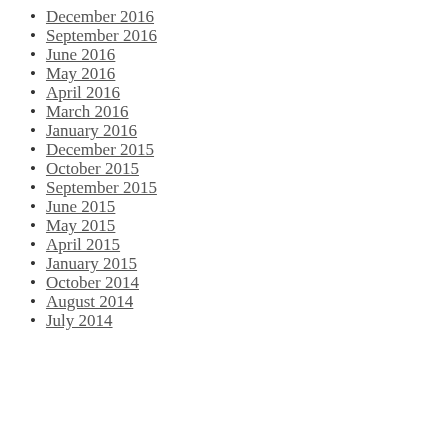December 2016
September 2016
June 2016
May 2016
April 2016
March 2016
January 2016
December 2015
October 2015
September 2015
June 2015
May 2015
April 2015
January 2015
October 2014
August 2014
July 2014